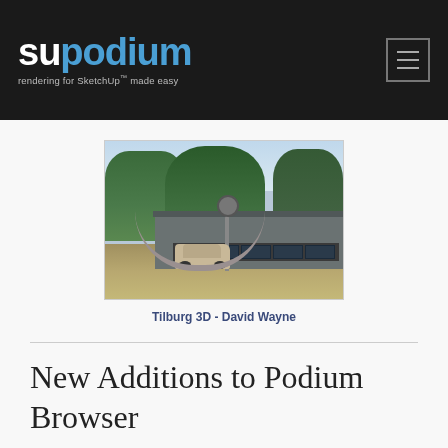SU Podium - rendering for SketchUp™ made easy
[Figure (photo): 3D architectural rendering of a modern flat-roofed building with a car parked in a circular driveway, surrounded by trees and a natural landscape.]
Tilburg 3D - David Wayne
New Additions to Podium Browser